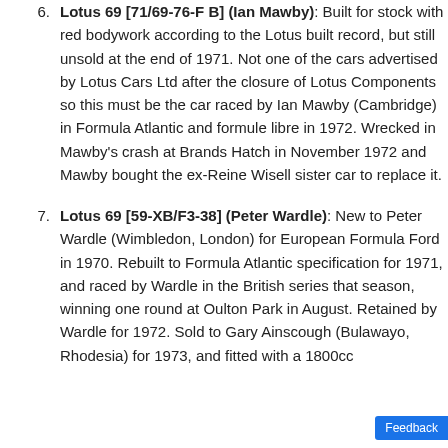Lotus 69 [71/69-76-F B] (Ian Mawby): Built for stock with red bodywork according to the Lotus built record, but still unsold at the end of 1971. Not one of the cars advertised by Lotus Cars Ltd after the closure of Lotus Components so this must be the car raced by Ian Mawby (Cambridge) in Formula Atlantic and formule libre in 1972. Wrecked in Mawby's crash at Brands Hatch in November 1972 and Mawby bought the ex-Reine Wisell sister car to replace it.
Lotus 69 [59-XB/F3-38] (Peter Wardle): New to Peter Wardle (Wimbledon, London) for European Formula Ford in 1970. Rebuilt to Formula Atlantic specification for 1971, and raced by Wardle in the British series that season, winning one round at Oulton Park in August. Retained by Wardle for 1972. Sold to Gary Ainscough (Bulawayo, Rhodesia) for 1973, and fitted with a 1800cc